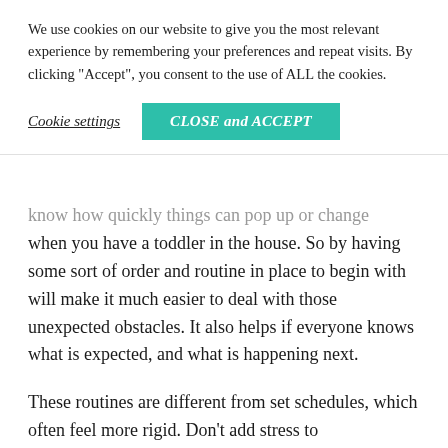We use cookies on our website to give you the most relevant experience by remembering your preferences and repeat visits. By clicking “Accept”, you consent to the use of ALL the cookies.
Cookie settings   CLOSE and ACCEPT
know how quickly things can pop up or change when you have a toddler in the house. So by having some sort of order and routine in place to begin with will make it much easier to deal with those unexpected obstacles. It also helps if everyone knows what is expected, and what is happening next.
These routines are different from set schedules, which often feel more rigid. Don’t add stress to